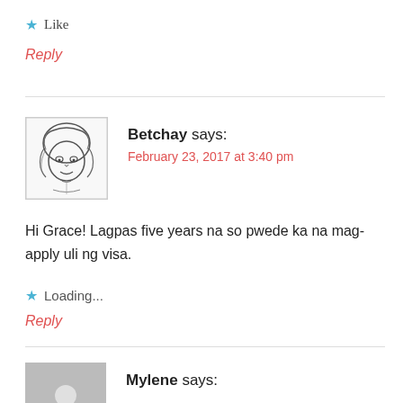★ Like
Reply
Betchay says:
February 23, 2017 at 3:40 pm
Hi Grace! Lagpas five years na so pwede ka na mag-apply uli ng visa.
★ Loading...
Reply
Mylene says: